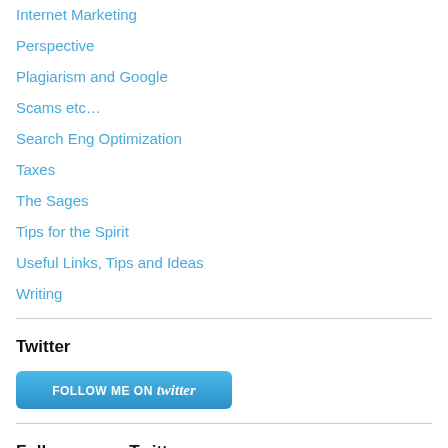Internet Marketing
Perspective
Plagiarism and Google
Scams etc…
Search Eng Optimization
Taxes
The Sages
Tips for the Spirit
Useful Links, Tips and Ideas
Writing
Twitter
[Figure (other): Follow me on Twitter button]
Follow me on Twitter
My Tweets